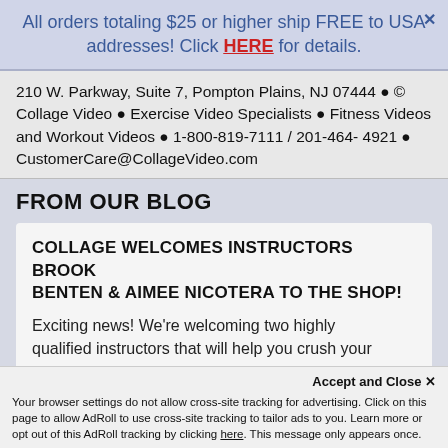All orders totaling $25 or higher ship FREE to USA × addresses! Click HERE for details.
210 W. Parkway, Suite 7, Pompton Plains, NJ 07444 • © Collage Video • Exercise Video Specialists • Fitness Videos and Workout Videos • 1-800-819-7111 / 201-464-4921 • CustomerCare@CollageVideo.com
FROM OUR BLOG
COLLAGE WELCOMES INSTRUCTORS BROOK BENTEN & AIMEE NICOTERA TO THE SHOP!
Exciting news! We're welcoming two highly qualified instructors that will help you crush your
Accept and Close ✕
Your browser settings do not allow cross-site tracking for advertising. Click on this page to allow AdRoll to use cross-site tracking to tailor ads to you. Learn more or opt out of this AdRoll tracking by clicking here. This message only appears once.